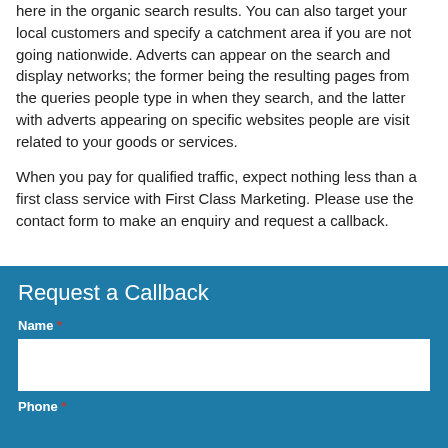here in the organic search results. You can also target your local customers and specify a catchment area if you are not going nationwide. Adverts can appear on the search and display networks; the former being the resulting pages from the queries people type in when they search, and the latter with adverts appearing on specific websites people are visit related to your goods or services.
When you pay for qualified traffic, expect nothing less than a first class service with First Class Marketing. Please use the contact form to make an enquiry and request a callback.
Request a Callback
Name *
Phone *